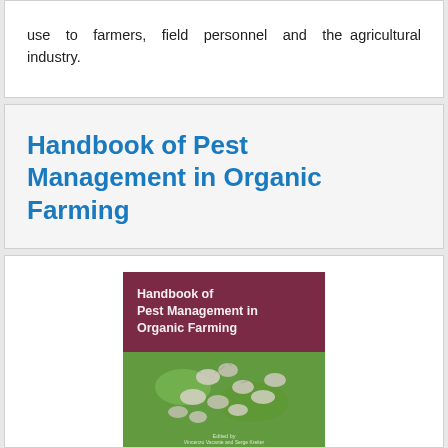use to farmers, field personnel and the agricultural industry.
Handbook of Pest Management in Organic Farming
[Figure (photo): Book cover of 'Handbook of Pest Management in Organic Farming'. Top portion has a dark maroon/purple background with white text showing the book title. Bottom portion shows a close-up photo of insects (mealybugs or similar pests) on a green plant surface. Edited by Vincenzo Vacante and Serge Kreiter.]